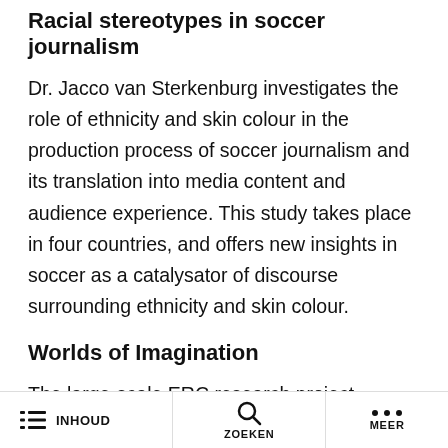Racial stereotypes in soccer journalism
Dr. Jacco van Sterkenburg investigates the role of ethnicity and skin colour in the production process of soccer journalism and its translation into media content and audience experience. This study takes place in four countries, and offers new insights in soccer as a catalysator of discourse surrounding ethnicity and skin colour.
Worlds of Imagination
The large-scale ERC research project Worlds of Imagination is directed at film tourism and the
INHOUD   ZOEKEN   MEER